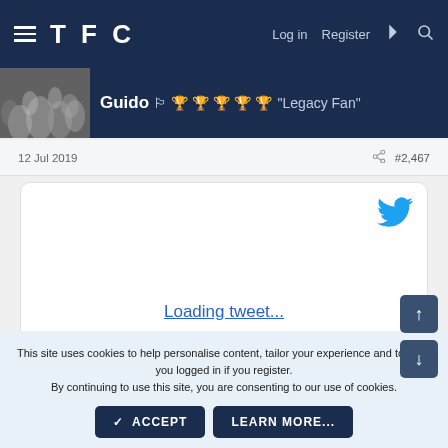TFC  Log in  Register
[Figure (screenshot): User avatar photo (crowd at football match, monochrome)]
Guido 🏳️ 🏆 🏆 🏆 🏆 🏆 "Legacy Fan"
12 Jul 2019	#2,467
[Figure (screenshot): Twitter/tweet embed box with Twitter bird logo and 'Loading tweet...' link]
This site uses cookies to help personalise content, tailor your experience and to keep you logged in if you register.
By continuing to use this site, you are consenting to our use of cookies.
✓ ACCEPT   LEARN MORE...